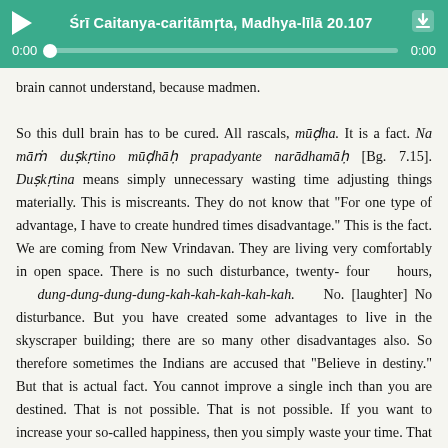[Figure (screenshot): Audio player with teal/green background showing title 'Śrī Caitanya-caritāmṛta, Madhya-līlā 20.107', play button, progress bar at 0:00, and download button]
brain cannot understand, because madmen.

So this dull brain has to be cured. All rascals, mūḍha. It is a fact. Na māṁ duṣkṛtino mūḍhāḥ prapadyante narādhamāḥ [Bg. 7.15]. Duṣkṛtina means simply unnecessary wasting time adjusting things materially. This is miscreants. They do not know that "For one type of advantage, I have to create hundred times disadvantage." This is the fact. We are coming from New Vrindavan. They are living very comfortably in open space. There is no such disturbance, twenty-four hours, dung-dung-dung-dung-kah-kah-kah-kah-kah. No. [laughter] No disturbance. But you have created some advantages to live in the skyscraper building; there are so many other disadvantages also. So therefore sometimes the Indians are accused that "Believe in destiny." But that is actual fact. You cannot improve a single inch than you are destined. That is not possible. That is not possible. If you want to increase your so-called happiness, then you simply waste your time. That is Prahlāda Mahārāja's instruction. Na tat prayāsaṁ kartavyam. "I am not in a good position economically...